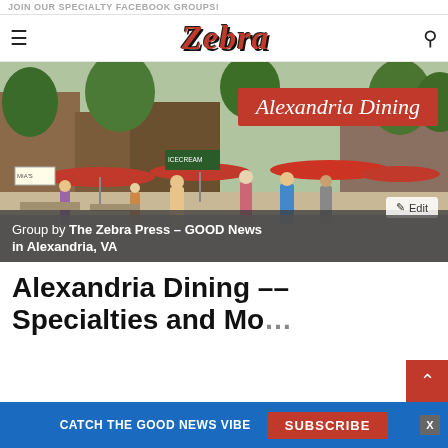JOIN OUR SPECIALTY FACEBOOK GROUPS!
[Figure (logo): Zebra Press logo with hamburger menu icon on left and search icon on right]
[Figure (photo): Outdoor dining street scene in Alexandria VA with red umbrellas and crowds of people. Red banner overlay reads 'Alexandria Dining'. Edit button visible bottom right. Caption bar reads: Group by The Zebra Press - GOOD News in Alexandria, VA]
Alexandria Dining --
Specialties and Mo...